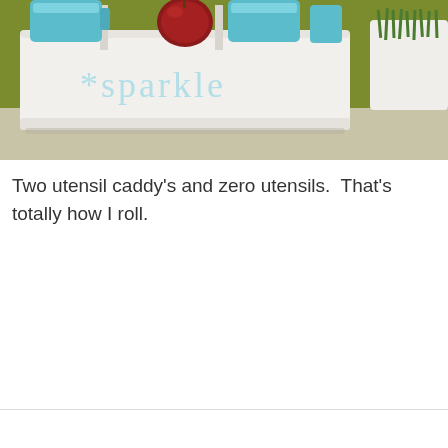[Figure (photo): A white metal utensil caddy with light teal '*sparkle' text on the front, containing blue mugs and a dark red apple, sitting on a countertop against an olive green wall. A white planter with green grass is visible in the background to the right.]
Two utensil caddy's and zero utensils.  That's totally how I roll.